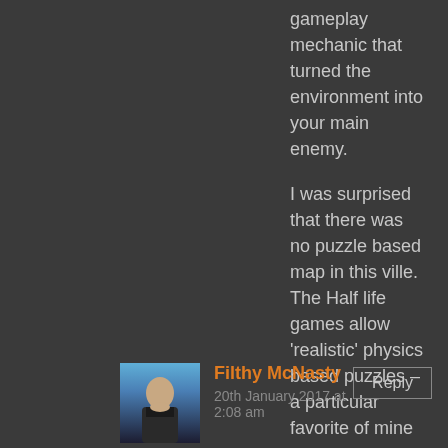gameplay mechanic that turned the environment into your main enemy.
I was surprised that there was no puzzle based map in this ville. The Half life games allow ‘realistic’ physics based puzzles – a particular favorite of mine – and those can be made into very intricate "Goldberg devices". There are loads of elements that can be turned into a puzzle that is both interesting and hard.
| Installed: | Difficulty Played At: | Playtime: |
| --- | --- | --- |
| Using Gauge | Medium | 5 Hours |
Filthy McNasty
20th January 2017 at 2:08 am